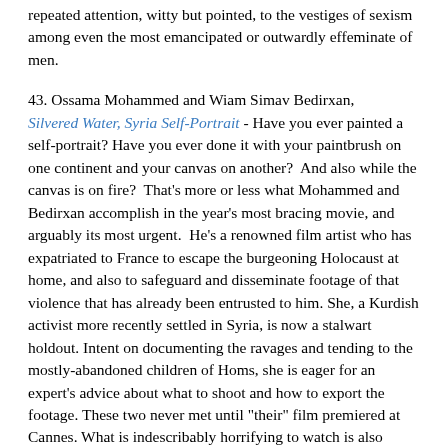repeated attention, witty but pointed, to the vestiges of sexism among even the most emancipated or outwardly effeminate of men.
43. Ossama Mohammed and Wiam Simav Bedirxan, Silvered Water, Syria Self-Portrait - Have you ever painted a self-portrait? Have you ever done it with your paintbrush on one continent and your canvas on another?  And also while the canvas is on fire?  That's more or less what Mohammed and Bedirxan accomplish in the year's most bracing movie, and arguably its most urgent.  He's a renowned film artist who has expatriated to France to escape the burgeoning Holocaust at home, and also to safeguard and disseminate footage of that violence that has already been entrusted to him. She, a Kurdish activist more recently settled in Syria, is now a stalwart holdout. Intent on documenting the ravages and tending to the mostly-abandoned children of Homs, she is eager for an expert's advice about what to shoot and how to export the footage. These two never met until "their" film premiered at Cannes. What is indescribably horrifying to watch is also indescribably ennobling to behold: two swimmers caught in strong, bloody currents, clinging to each other across time zones, surviving the cataclysm, inciting us